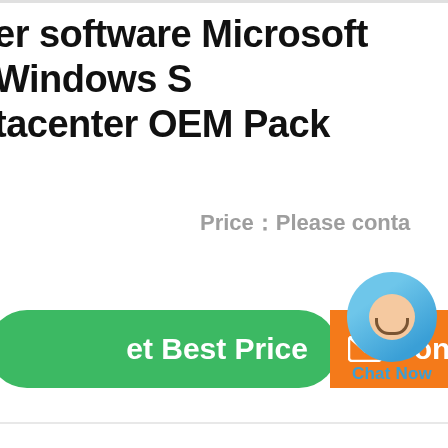er software Microsoft Windows S tacenter OEM Pack
Price：Please conta
[Figure (other): Green rounded button with text 'et Best Price']
[Figure (other): Chat Now bubble overlay with blue circle and person icon]
[Figure (other): Orange button with email icon and text 'Contac']
building, Longgang District, Shenzhen